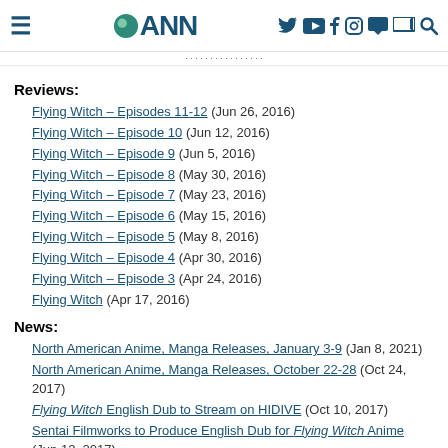ANN - Anime News Network
Reviews:
Flying Witch – Episodes 11-12 (Jun 26, 2016)
Flying Witch – Episode 10 (Jun 12, 2016)
Flying Witch – Episode 9 (Jun 5, 2016)
Flying Witch – Episode 8 (May 30, 2016)
Flying Witch – Episode 7 (May 23, 2016)
Flying Witch – Episode 6 (May 15, 2016)
Flying Witch – Episode 5 (May 8, 2016)
Flying Witch – Episode 4 (Apr 30, 2016)
Flying Witch – Episode 3 (Apr 24, 2016)
Flying Witch (Apr 17, 2016)
News:
North American Anime, Manga Releases, January 3-9 (Jan 8, 2021)
North American Anime, Manga Releases, October 22-28 (Oct 24, 2017)
Flying Witch English Dub to Stream on HIDIVE (Oct 10, 2017)
Sentai Filmworks to Produce English Dub for Flying Witch Anime (Jun 12, 2017)
Japan's Animation Blu-ray Disc Ranking, August 22-28 (Aug 30, ...)